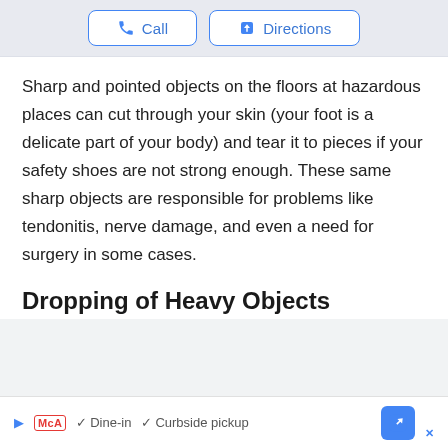[Figure (screenshot): UI buttons: Call and Directions with icons, styled with blue border on white background, over a map background]
Sharp and pointed objects on the floors at hazardous places can cut through your skin (your foot is a delicate part of your body) and tear it to pieces if your safety shoes are not strong enough. These same sharp objects are responsible for problems like tendonitis, nerve damage, and even a need for surgery in some cases.
Dropping of Heavy Objects
[Figure (screenshot): Ad bar showing McDonald's ad with Dine-in and Curbside pickup checkmarks and a blue directions button]